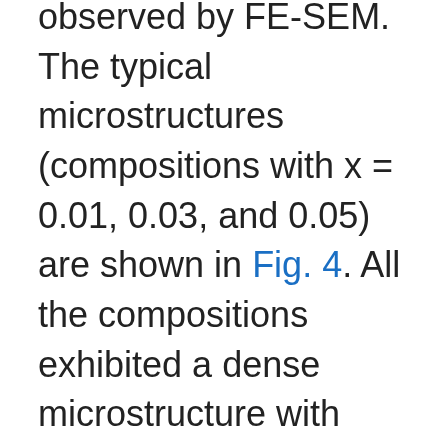observed by FE-SEM. The typical microstructures (compositions with x = 0.01, 0.03, and 0.05) are shown in Fig. 4. All the compositions exhibited a dense microstructure with polyhedron-shaped grains. In the case of x = 0.05 composition, large grains were observed. According to the EDS result for the x =